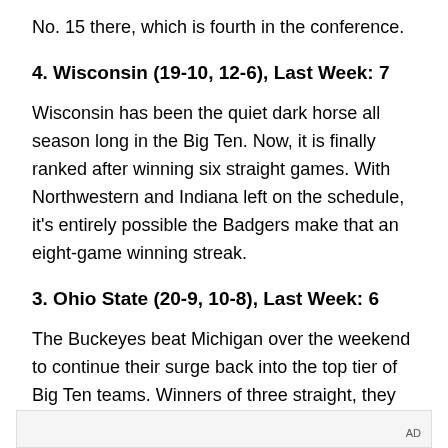No. 15 there, which is fourth in the conference.
4. Wisconsin (19-10, 12-6), Last Week: 7
Wisconsin has been the quiet dark horse all season long in the Big Ten. Now, it is finally ranked after winning six straight games. With Northwestern and Indiana left on the schedule, it's entirely possible the Badgers make that an eight-game winning streak.
3. Ohio State (20-9, 10-8), Last Week: 6
The Buckeyes beat Michigan over the weekend to continue their surge back into the top tier of Big Ten teams. Winners of three straight, they get Illinois and Michigan State next.